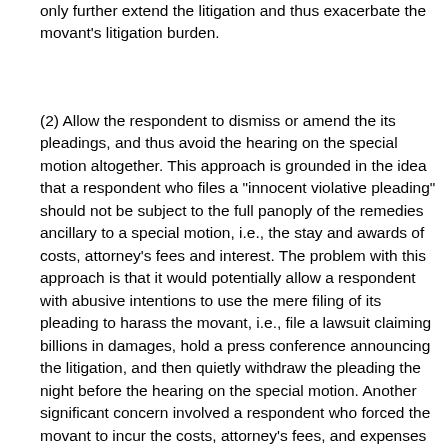only further extend the litigation and thus exacerbate the movant's litigation burden.
(2) Allow the respondent to dismiss or amend the its pleadings, and thus avoid the hearing on the special motion altogether. This approach is grounded in the idea that a respondent who files a "innocent violative pleading" should not be subject to the full panoply of the remedies ancillary to a special motion, i.e., the stay and awards of costs, attorney's fees and interest. The problem with this approach is that it would potentially allow a respondent with abusive intentions to use the mere filing of its pleading to harass the movant, i.e., file a lawsuit claiming billions in damages, hold a press conference announcing the litigation, and then quietly withdraw the pleading the night before the hearing on the special motion. Another significant concern involved a respondent who forced the movant to incur the costs, attorney's fees, and expenses to prepare and file the special